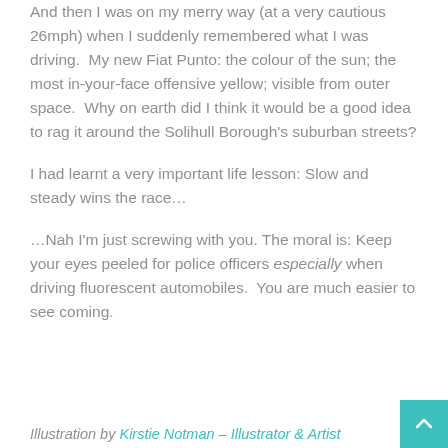And then I was on my merry way (at a very cautious 26mph) when I suddenly remembered what I was driving.  My new Fiat Punto: the colour of the sun; the most in-your-face offensive yellow; visible from outer space.  Why on earth did I think it would be a good idea to rag it around the Solihull Borough's suburban streets?
I had learnt a very important life lesson: Slow and steady wins the race…
…Nah I'm just screwing with you. The moral is: Keep your eyes peeled for police officers especially when driving fluorescent automobiles.  You are much easier to see coming.
Illustration by Kirstie Notman – Illustrator & Artist